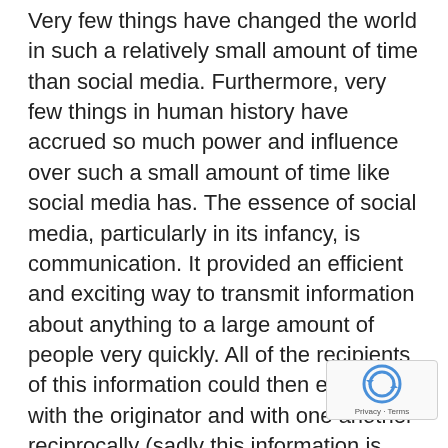Very few things have changed the world in such a relatively small amount of time than social media. Furthermore, very few things in human history have accrued so much power and influence over such a small amount of time like social media has. The essence of social media, particularly in its infancy, is communication. It provided an efficient and exciting way to transmit information about anything to a large amount of people very quickly. All of the recipients of this information could then engage with the originator and with one another reciprocally (sadly this information is often in the genre of late-night intoxicated club photographs, but is nonetheless information). Social media started out like this, as a product and the social media companies themselves
[Figure (other): reCAPTCHA badge overlay in the bottom-right corner showing the Google reCAPTCHA logo and 'Privacy - Terms' text]